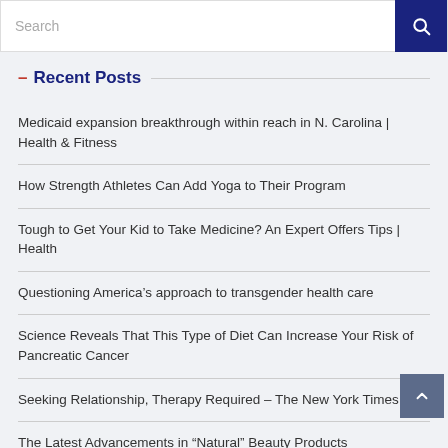Search
— Recent Posts
Medicaid expansion breakthrough within reach in N. Carolina | Health & Fitness
How Strength Athletes Can Add Yoga to Their Program
Tough to Get Your Kid to Take Medicine? An Expert Offers Tips | Health
Questioning America’s approach to transgender health care
Science Reveals That This Type of Diet Can Increase Your Risk of Pancreatic Cancer
Seeking Relationship, Therapy Required – The New York Times
The Latest Advancements in “Natural” Beauty Products